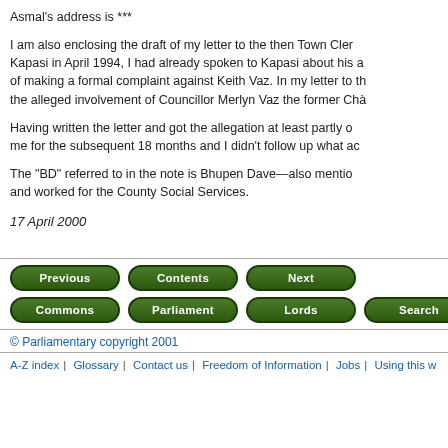Asmal's address is ***
I am also enclosing the draft of my letter to the then Town Clerk Kapasi in April 1994, I had already spoken to Kapasi about his a of making a formal complaint against Keith Vaz. In my letter to th the alleged involvement of Councillor Merlyn Vaz the former Cha
Having written the letter and got the allegation at least partly o me for the subsequent 18 months and I didn't follow up what ac
The "BD" referred to in the note is Bhupen Dave—also mentio and worked for the County Social Services.
17 April 2000
[Figure (other): Navigation buttons: Previous, Contents, Next (green rounded buttons)]
[Figure (other): Navigation buttons: Commons, Parliament, Lords, Search, E (green rounded buttons)]
© Parliamentary copyright 2001
A-Z index | Glossary | Contact us | Freedom of Information | Jobs | Using this w